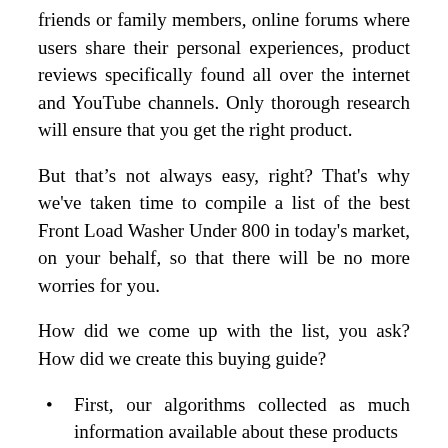friends or family members, online forums where users share their personal experiences, product reviews specifically found all over the internet and YouTube channels. Only thorough research will ensure that you get the right product.
But that’s not always easy, right? That's why we've taken time to compile a list of the best Front Load Washer Under 800 in today's market, on your behalf, so that there will be no more worries for you.
How did we come up with the list, you ask? How did we create this buying guide?
First, our algorithms collected as much information available about these products